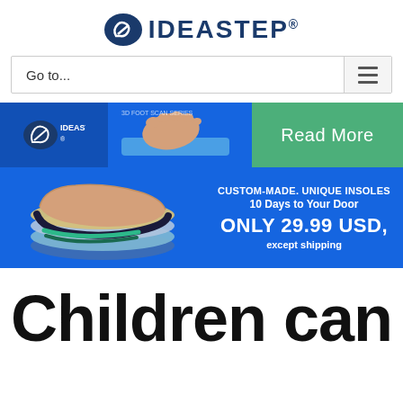[Figure (logo): IDEASTEP logo with oval blue icon and text IDEASTEP with registered trademark symbol]
Go to...
[Figure (screenshot): Blue promotional banner for IDEASTEP custom-made insoles. Top section shows IDEASTEP logo box, foot scan image, and green Read More button. Bottom section shows stack of insoles image on left and promotional text on right: CUSTOM-MADE. UNIQUE INSOLES, 10 Days to Your Door, ONLY 29.99 USD, except shipping]
Children can